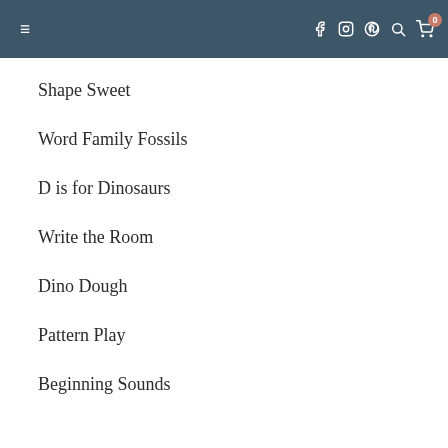≡  f  © ⊛ 🔍 🛒 0
Shape Sweet
Word Family Fossils
D is for Dinosaurs
Write the Room
Dino Dough
Pattern Play
Beginning Sounds